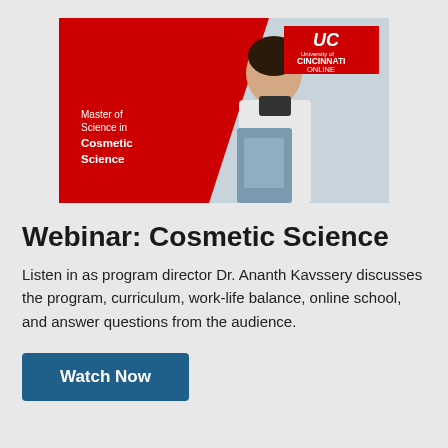[Figure (photo): University of Cincinnati Online branded banner image showing a woman in a lab coat working at a desk, with a red diagonal design element and text 'Master of Science in Cosmetic Science' on the left side, and the UC Cincinnati Online logo in the upper right.]
Webinar: Cosmetic Science
Listen in as program director Dr. Ananth Kavssery discusses the program, curriculum, work-life balance, online school, and answer questions from the audience.
Watch Now